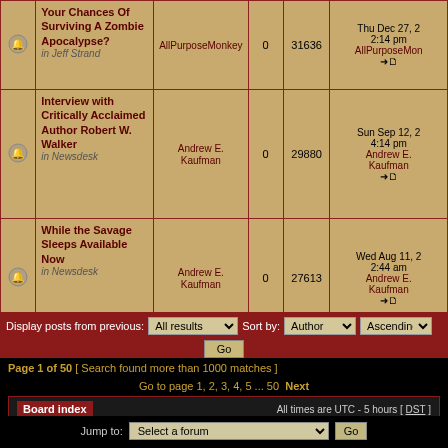|  | Topic | Author | Replies | Views | Last post |
| --- | --- | --- | --- | --- | --- |
| [bell] | Your Chances Of Surviving A Zombie Apocalypse?
in Jeff Strand | AllPurposeMonkey | 0 | 31636 | Thu Dec 27, 2...
2:14 pm
AllPurposeMon... |
| [bell] | Interview with Critically Acclaimed Author Robert W. Walker
in Newsdesk | Andrew E. Kaufman | 0 | 29880 | Sun Sep 12, 2...
4:14 pm
Andrew E.
Kaufman |
| [bell] | While the Savage Sleeps Available Now
in Newsdesk | Andrew E. Kaufman | 0 | 27613 | Wed Aug 11, 2...
2:44 am
Andrew E.
Kaufman |
Display posts from previous: All results  Sort by: Author  Ascending  Go
Page 1 of 50 [ Search found more than 1000 matches ]
Go to page 1, 2, 3, 4, 5 ... 50  Next
Board index  All times are UTC - 5 hours [ DST ]
Jump to: Select a forum  Go